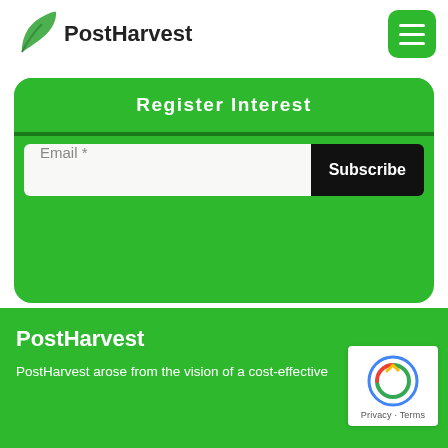[Figure (logo): PostHarvest logo with green leaf icon and bold text]
[Figure (other): Green hamburger menu button in top right corner]
Register Interest
Email *
Subscribe
PostHarvest
PostHarvest arose from the vision of a cost-effective
[Figure (other): reCAPTCHA logo with Privacy - Terms text]